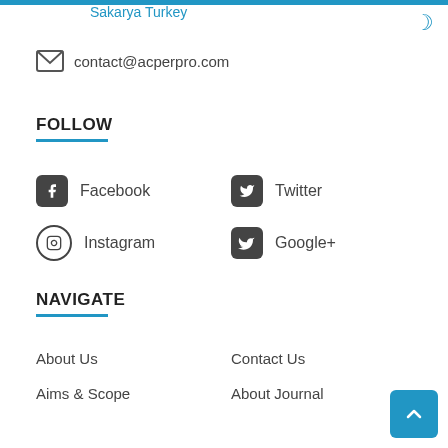Sakarya Turkey
contact@acperpro.com
FOLLOW
Facebook
Twitter
Instagram
Google+
NAVIGATE
About Us
Contact Us
Aims & Scope
About Journal